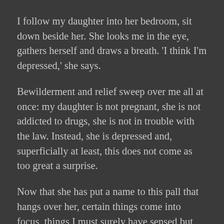I follow my daughter into her bedroom, sit down beside her. She looks me in the eye, gathers herself and draws a breath. 'I think I'm depressed,' she says.
Bewilderment and relief sweep over me all at once: my daughter is not pregnant, she is not addicted to drugs, she is not in trouble with the law. Instead, she is depressed and, superficially at least, this does not come as too great a surprise.
Now that she has put a name to this pall that hangs over her, certain things come into focus, things I must surely have sensed but which were blurred, lacking in clarity: the dark rings beneath her eyes, the melancholy swimming within them, the empty space where joie de vivre once lived.